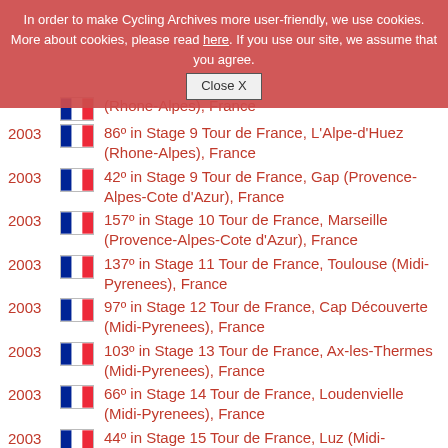In order to make Cycling Archives more user-friendly, we use cookies. More about cookies, please read here. If you use our site, we assume that you agree. [Close X]
2003 [FR] 86º in Stage 9 Tour de France, L'Alpe-d'Huez (Rhone-Alpes), France
2003 [FR] 42º in Stage 9 Tour de France, Gap (Provence-Alpes-Cote d'Azur), France
2003 [FR] 157º in Stage 10 Tour de France, Marseille (Provence-Alpes-Cote d'Azur), France
2003 [FR] 137º in Stage 11 Tour de France, Toulouse (Midi-Pyrenees), France
2003 [FR] 97º in Stage 12 Tour de France, Cap Découverte (Midi-Pyrenees), France
2003 [FR] 103º in Stage 13 Tour de France, Ax-les-Thermes (Midi-Pyrenees), France
2003 [FR] 66º in Stage 14 Tour de France, Loudenvielle (Midi-Pyrenees), France
2003 [FR] 44º in Stage 15 Tour de France, Luz (Midi-Pyrenees), France
2003 [FR] 75º in Stage 16 Tour de France, Bayonne (Aquitaine), France
2003 [FR] 131º in Stage 17 Tour de France, Bordeaux